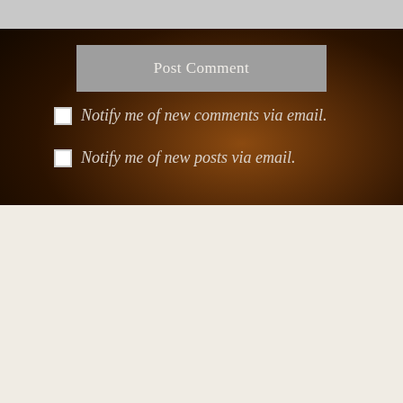[Figure (screenshot): Gray bar at top of page, partial UI element]
Post Comment
Notify me of new comments via email.
Notify me of new posts via email.
Advertisements
[Figure (screenshot): Advertisement box showing 'Business in' large bold text, partially cut off]
Advertisements
[Figure (screenshot): Day One app advertisement: 'The only journaling app you'll ever need.']